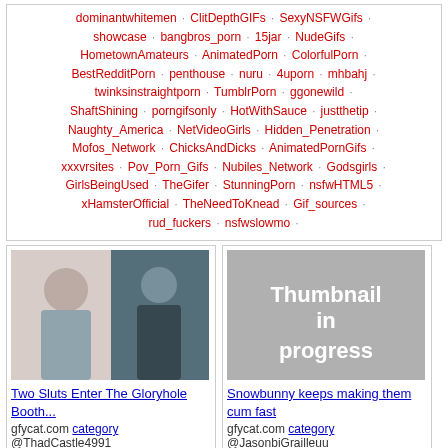dominantwhitemen · ClitDepthGIFs · SexyNSFWGifs · showcase · bangbros_porn · 15jar · NudeGifs · HometownAmateurs · AnimatedPorn · ColorfulPorn · BestRedditPorn · penthouse · nuru · 4uporn · mhbahj · twinksinstraightporn · TumblrPorn · ggonewild · ShaftShining · porngifsonly · HotWithSauce · justthetip · Naughty_America · NetVideoGirls · Hidden_Penetration · Mofos_Network · ChicksAndDicks · AnimatedPornGifs · xxxvrsites · Pov_Porn_Gifs · Nubiles_Network · Godsgirls · GirlsBeingUsed · TheGifer · StunningPorn · nsfwHTML5 · xHamsterOfficial · TheNeedToKnead · Gif_sources · rud_fuckers · nsfwslowmo ·
[Figure (photo): Thumbnail photo of two women]
Two Sluts Enter The Gloryhole Booth...
gfycat.com category @ThadCastle4991
[Figure (photo): Thumbnail in progress placeholder]
Snowbunny keeps making them cum fast
gfycat.com category
[Figure (photo): Bottom partial photo]